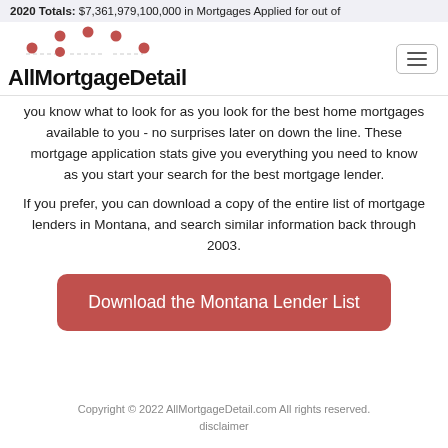2020 Totals: $7,361,979,100,000 in Mortgages Applied for out of
[Figure (logo): AllMortgageDetail logo with red dot pattern above the text]
you know what to look for as you look for the best home mortgages available to you - no surprises later on down the line. These mortgage application stats give you everything you need to know as you start your search for the best mortgage lender.
If you prefer, you can download a copy of the entire list of mortgage lenders in Montana, and search similar information back through 2003.
Download the Montana Lender List
Copyright © 2022 AllMortgageDetail.com All rights reserved.
disclaimer